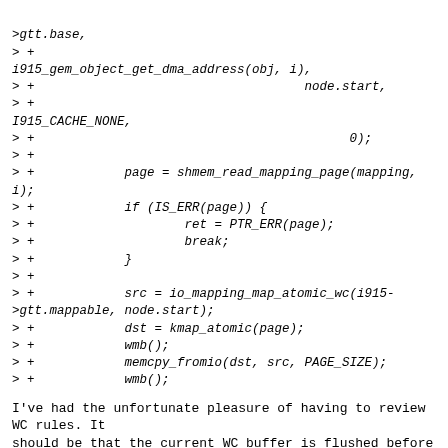>gtt.base,
> +
i915_gem_object_get_dma_address(obj, i),
> +                                    node.start,
> +
I915_CACHE_NONE,
> +                                          0);
> +
> +            page = shmem_read_mapping_page(mapping,
i);
> +            if (IS_ERR(page)) {
> +                    ret = PTR_ERR(page);
> +                    break;
> +            }
> +
> +            src = io_mapping_map_atomic_wc(i915-
>gtt.mappable, node.start);
> +            dst = kmap_atomic(page);
> +            wmb();
> +            memcpy_fromio(dst, src, PAGE_SIZE);
> +            wmb();
I've had the unfortunate pleasure of having to review WC rules. It
should be that the current WC buffer is flushed before the next WC
access outside of the current window, but that only applies to the
current cpu (aiui).